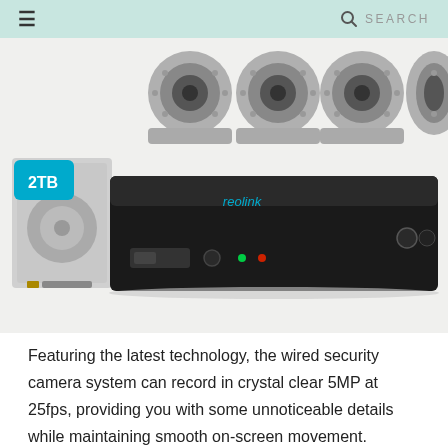☰   🔍 SEARCH
[Figure (photo): Security camera system product photo showing four bullet cameras at the top and a black NVR/DVR recorder unit with a 2TB hard drive on the left side. The recorder has the Reolink brand logo in teal, green and red LED indicators, and a USB port on the front panel.]
Featuring the latest technology, the wired security camera system can record in crystal clear 5MP at 25fps, providing you with some unnoticeable details while maintaining smooth on-screen movement.